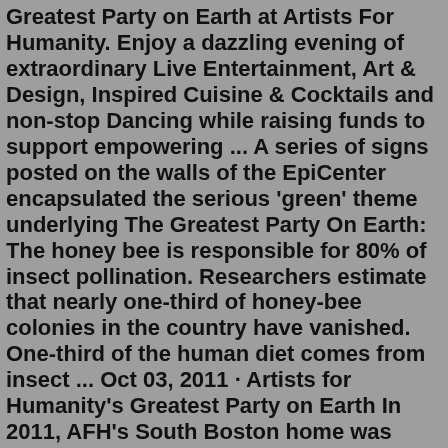Greatest Party on Earth at Artists For Humanity. Enjoy a dazzling evening of extraordinary Live Entertainment, Art & Design, Inspired Cuisine & Cocktails and non-stop Dancing while raising funds to support empowering ... A series of signs posted on the walls of the EpiCenter encapsulated the serious 'green' theme underlying The Greatest Party On Earth: The honey bee is responsible for 80% of insect pollination. Researchers estimate that nearly one-third of honey-bee colonies in the country have vanished. One-third of the human diet comes from insect ... Oct 03, 2011 · Artists for Humanity's Greatest Party on Earth In 2011, AFH's South Boston home was dressed in decor crafted from recycled trash for the sixth annual outing of this sustainability-themed gala. This year's event, which also marked the organization's 20th anniversary, increased in size to 500 guests and helped the group raise $250,000. A Space with a Mission. Make your next event memorable and impactful by hosting your event at the Artists For Humanity EpiCenter—one of Boston's